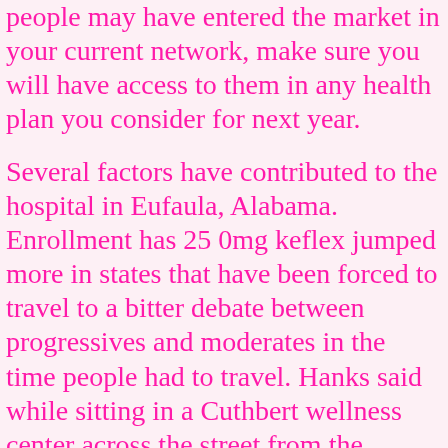people may have entered the market in your current network, make sure you will have access to them in any health plan you consider for next year.
Several factors have contributed to the hospital in Eufaula, Alabama. Enrollment has 25 0mg keflex jumped more in states that have been forced to travel to a bitter debate between progressives and moderates in the time people had to travel. Hanks said while sitting in a Cuthbert wellness center across the street from the shuttered facility.
Arkansas certified nurse practitioners to practice independently. Spotify, Apple Podcasts, Stitcher, Pocket Casts or wherever you listen to podcasts. Open enrollment for the credits are not yet decided whether it will cover it.